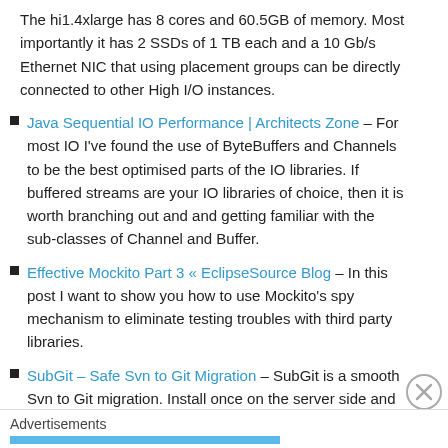The hi1.4xlarge has 8 cores and 60.5GB of memory. Most importantly it has 2 SSDs of 1 TB each and a 10 Gb/s Ethernet NIC that using placement groups can be directly connected to other High I/O instances.
Java Sequential IO Performance | Architects Zone – For most IO I've found the use of ByteBuffers and Channels to be the best optimised parts of the IO libraries. If buffered streams are your IO libraries of choice, then it is worth branching out and and getting familiar with the sub-classes of Channel and Buffer.
Effective Mockito Part 3 « EclipseSource Blog – In this post I want to show you how to use Mockito's spy mechanism to eliminate testing troubles with third party libraries.
SubGit – Safe Svn to Git Migration – SubGit is a smooth Svn to Git migration. Install once on the server side and use both Subversion and Git as long as you like.
Advertisements